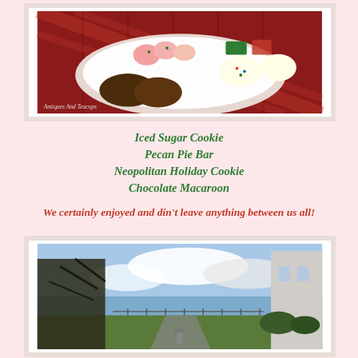[Figure (photo): Plate of assorted holiday cookies and bars on white doily plate, on a red plaid tablecloth. Watermark reads 'Antiques And Teacups'.]
Iced Sugar Cookie
Pecan Pie Bar
Neopolitan Holiday Cookie
Chocolate Macaroon
We certainly enjoyed and din't leave anything between us all!
[Figure (photo): Outdoor winter scene with bare trees, a driveway, lawn, and a body of water visible in the background under a partly cloudy sky. A building is on the right.]